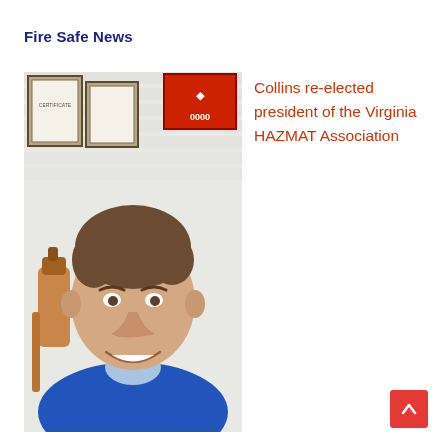Fire Safe News
[Figure (photo): Headshot of a middle-aged man with brown hair, wearing a blue jacket and smiling, with a copper fire extinguisher and framed certificates visible in the background]
Collins re-elected president of the Virginia HAZMAT Association